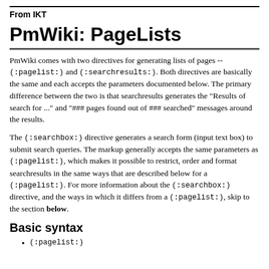From IKT
PmWiki: PageLists
PmWiki comes with two directives for generating lists of pages -- (:pagelist:) and (:searchresults:). Both directives are basically the same and each accepts the parameters documented below. The primary difference between the two is that searchresults generates the "Results of search for ..." and "### pages found out of ### searched" messages around the results.
The (:searchbox:) directive generates a search form (input text box) to submit search queries. The markup generally accepts the same parameters as (:pagelist:), which makes it possible to restrict, order and format searchresults in the same ways that are described below for a (:pagelist:). For more information about the (:searchbox:) directive, and the ways in which it differs from a (:pagelist:), skip to the section below.
Basic syntax
(:pagelist:)